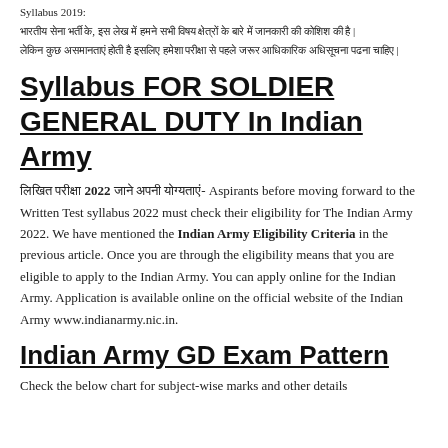Syllabus 2019:
भारतीय सेना भर्ती के, इस लेख में हमने सभी विषय क्षेत्रों के बारे में जानकारी की कोशिश की है |
लेकिन कुछ असमानताएं होती है इसलिए हमेशा परीक्षा से पहले जरूर आधिकारिक अधिसूचना पढना चाहिए |
Syllabus FOR SOLDIER GENERAL DUTY In Indian Army
लिखित परीक्षा 2022 जाने अपनी योग्यताएं- Aspirants before moving forward to the Written Test syllabus 2022 must check their eligibility for The Indian Army 2022. We have mentioned the Indian Army Eligibility Criteria in the previous article. Once you are through the eligibility means that you are eligible to apply to the Indian Army. You can apply online for the Indian Army. Application is available online on the official website of the Indian Army www.indianarmy.nic.in.
Indian Army GD Exam Pattern
Check the below chart for subject-wise marks and other details